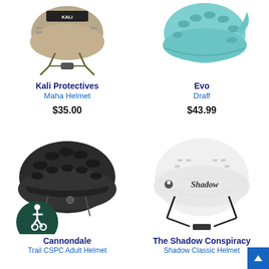[Figure (photo): Kali Protectives Maha Helmet product image - helmet with straps on white background]
Kali Protectives
Maha Helmet
$35.00
[Figure (photo): Evo Draff bicycle helmet in light blue/teal color on white background]
Evo
Draff
$43.99
[Figure (photo): Cannondale Trail CSPC Adult Helmet in black, with accessibility logo badge overlaid]
Cannondale
Trail CSPC Adult Helmet
[Figure (photo): The Shadow Conspiracy Shadow Classic Helmet in white with black straps and Shadow logo]
The Shadow Conspiracy
Shadow Classic Helmet